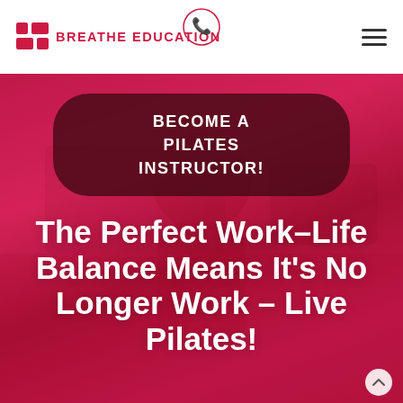BREATHE EDUCATION
BECOME A PILATES INSTRUCTOR!
The Perfect Work-Life Balance Means It's No Longer Work – Live Pilates!